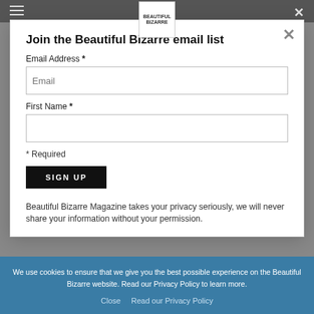Beautiful Bizarre Magazine navigation bar
Join the Beautiful Bizarre email list
Email Address *
First Name *
* Required
SIGN UP
Beautiful Bizarre Magazine takes your privacy seriously, we will never share your information without your permission.
We use cookies to ensure that we give you the best possible experience on the Beautiful Bizarre website. Read our Privacy Policy to learn more.
Close   Read our Privacy Policy